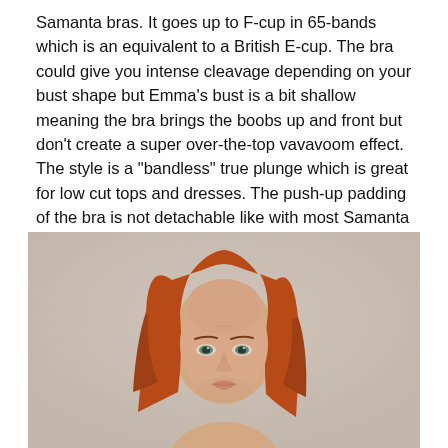Samanta bras. It goes up to F-cup in 65-bands which is an equivalent to a British E-cup. The bra could give you intense cleavage depending on your bust shape but Emma's bust is a bit shallow meaning the bra brings the boobs up and front but don't create a super over-the-top vavavoom effect. The style is a "bandless" true plunge which is great for low cut tops and dresses. The push-up padding of the bra is not detachable like with most Samanta styles which is something to be considered if you are not always into the more enhanced look.
[Figure (photo): A woman with long red/auburn hair, pale skin, looking directly at the camera. Neutral beige/tan background. Only head and upper shoulders visible.]